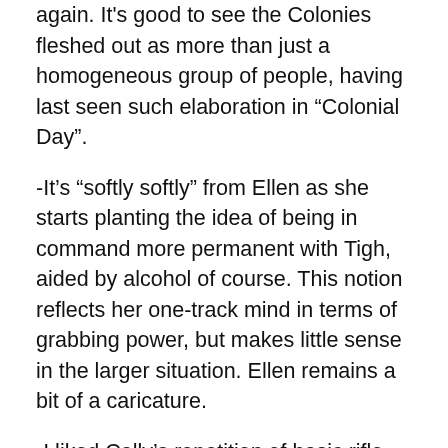again. It's good to see the Colonies fleshed out as more than just a homogeneous group of people, having last seen such elaboration in “Colonial Day”.
-It’s “softly softly” from Ellen as she starts planting the idea of being in command more permanent with Tigh, aided by alcohol of course. This notion reflects her one-track mind in terms of grabbing power, but makes little sense in the larger situation. Ellen remains a bit of a caricature.
-I liked Cally’s repetition of basic rifle handling instructions ahead of the attack, a mantra drilled in during basic but whose meaning was never more relevant than right now.
-Crashdown literally wears the dogtags of Socinus and Tarn, in a metaphor about as subtle as Carl Frederickson carrying the house he spent with Ellie around.
-It was Dee’s “Believing in the human…